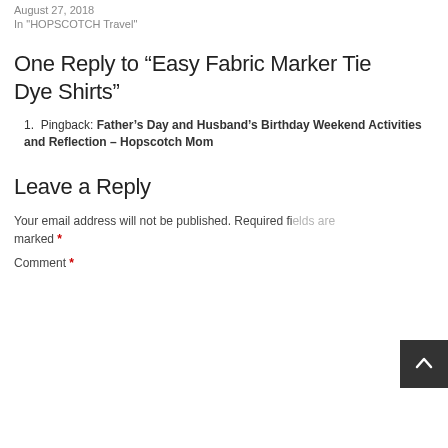Catskills, NY Itinerary
August 27, 2018
In "HOPSCOTCH Travel"
One Reply to “Easy Fabric Marker Tie Dye Shirts”
Pingback: Father’s Day and Husband’s Birthday Weekend Activities and Reflection – Hopscotch Mom
Leave a Reply
Your email address will not be published. Required fields are marked *
Comment *